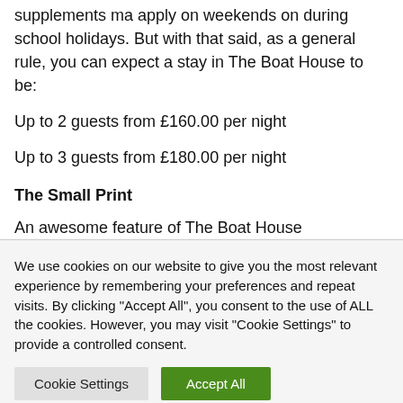supplements ma apply on weekends on during school holidays. But with that said, as a general rule, you can expect a stay in The Boat House to be:
Up to 2 guests from £160.00 per night
Up to 3 guests from £180.00 per night
The Small Print
An awesome feature of The Boat House
We use cookies on our website to give you the most relevant experience by remembering your preferences and repeat visits. By clicking "Accept All", you consent to the use of ALL the cookies. However, you may visit "Cookie Settings" to provide a controlled consent.